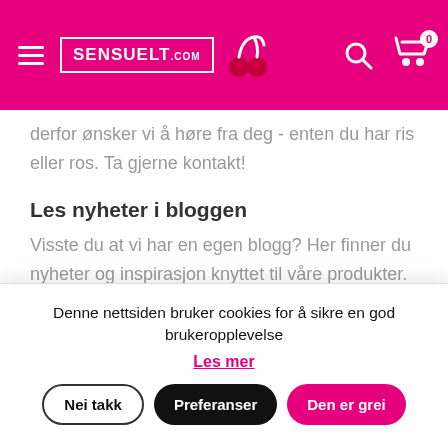SENSUELT.com
derfor ønsker vi å høre fra deg - enten du har ris eller ros. Ta gjerne kontakt!
Les nyheter i bloggen
Visste du at vi har en egen blogg? Her finner du nyheter og inspirasjon knyttet til våre produkter. Besøk bloggen for de nyeste oppdateringene innen sexleketøy og erotikk.
Sensuelt.com har det beste utvalget av sexleketøy på nett - for din nytelse!
Denne nettsiden bruker cookies for å sikre en god brukeropplevelse
Les mer
Nei takk | Preferanser | Den er grei